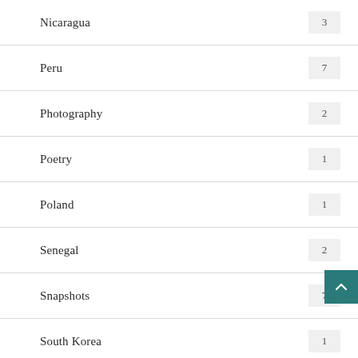Nicaragua  3
Peru  7
Photography  2
Poetry  1
Poland  1
Senegal  2
Snapshots  7
South Korea  1
Tanzania  3